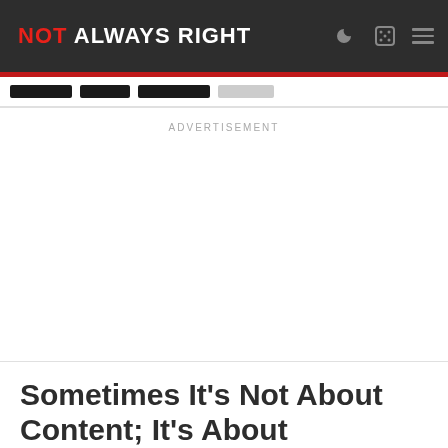NOT ALWAYS RIGHT
ADVERTISEMENT
Sometimes It's Not About Content; It's About Aesthetic
Boyfriend/Girlfriend, Chile, Home, Music, Santiago, Silly |